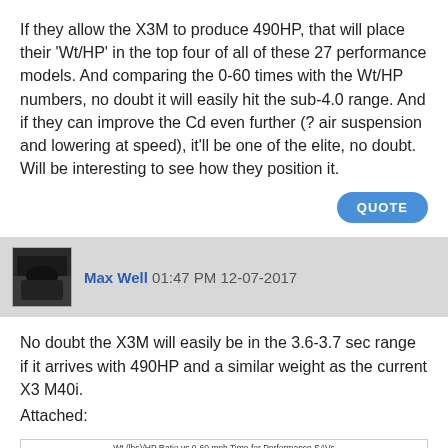If they allow the X3M to produce 490HP, that will place their 'Wt/HP' in the top four of all of these 27 performance models. And comparing the 0-60 times with the Wt/HP numbers, no doubt it will easily hit the sub-4.0 range. And if they can improve the Cd even further (? air suspension and lowering at speed), it'll be one of the elite, no doubt. Will be interesting to see how they position it.
QUOTE
Max Well 01:47 PM 12-07-2017
No doubt the X3M will easily be in the 3.6-3.7 sec range if it arrives with 490HP and a similar weight as the current X3 M40i.
Attached:
[Figure (continuous-plot): Wt (lbs)/HP Ratio vs 0-60 mph Time for Performance SAVs - scatter/line chart partially visible at bottom of page]